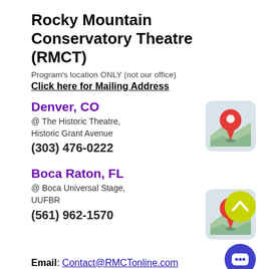Rocky Mountain Conservatory Theatre (RMCT)
Program's location ONLY (not our office)
Click here for Mailing Address
Denver, CO
@ The Historic Theatre, Historic Grant Avenue
(303) 476-0222
[Figure (illustration): Map location pin icon for Denver]
Boca Raton, FL
@ Boca Universal Stage, UUFBR
(561) 962-1570
[Figure (illustration): Map location pin icon for Boca Raton]
[Figure (illustration): Yellow scroll-up chevron button]
Email: Contact@RMCTonline.com
Toll Free: 1 (888) 344-3465
[Figure (illustration): Blue chat bubble button]
Join our mailing list